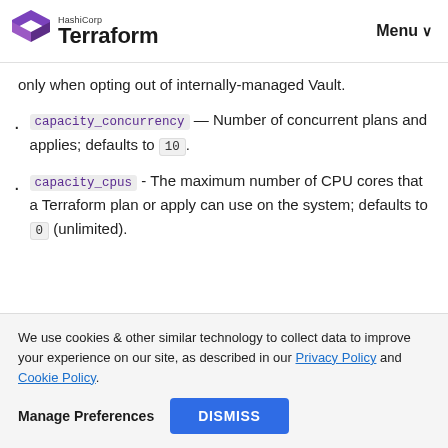HashiCorp Terraform | Menu
only when opting out of internally-managed Vault.
capacity_concurrency — Number of concurrent plans and applies; defaults to 10.
capacity_cpus - The maximum number of CPU cores that a Terraform plan or apply can use on the system; defaults to 0 (unlimited).
We use cookies & other similar technology to collect data to improve your experience on our site, as described in our Privacy Policy and Cookie Policy.
Manage Preferences | DISMISS